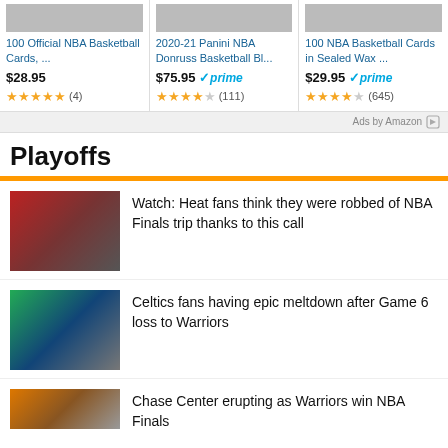[Figure (screenshot): Amazon ad bar with three NBA basketball card products showing images, titles, prices, prime badges, and star ratings]
Ads by Amazon
Playoffs
Watch: Heat fans think they were robbed of NBA Finals trip thanks to this call
Celtics fans having epic meltdown after Game 6 loss to Warriors
Chase Center erupting as Warriors win NBA Finals